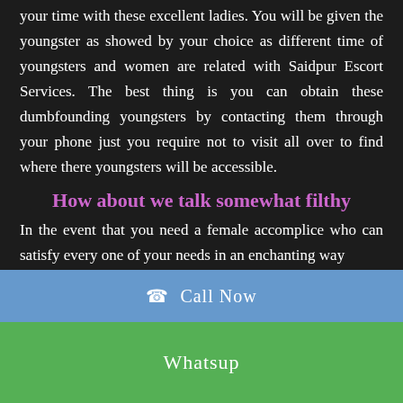your time with these excellent ladies. You will be given the youngster as showed by your choice as different time of youngsters and women are related with Saidpur Escort Services. The best thing is you can obtain these dumbfounding youngsters by contacting them through your phone just you require not to visit all over to find where there youngsters will be accessible.
How about we talk somewhat filthy
In the event that you need a female accomplice who can satisfy every one of your needs in an enchanting way
☎  Call Now
Whatsup